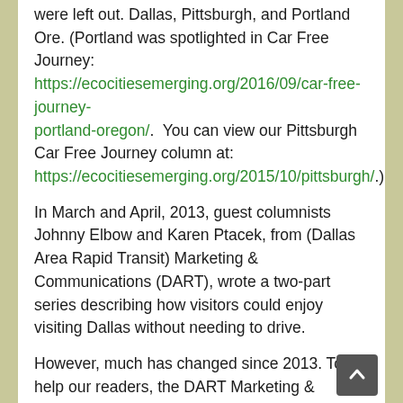were left out. Dallas, Pittsburgh, and Portland Ore. (Portland was spotlighted in Car Free Journey: https://ecocitiesemerging.org/2016/09/car-free-journey-portland-oregon/.  You can view our Pittsburgh Car Free Journey column at: https://ecocitiesemerging.org/2015/10/pittsburgh/.)
In March and April, 2013, guest columnists Johnny Elbow and Karen Ptacek, from (Dallas Area Rapid Transit) Marketing & Communications (DART), wrote a two-part series describing how visitors could enjoy visiting Dallas without needing to drive.
However, much has changed since 2013. To help our readers, the DART Marketing & Communications staff  has contributed an updated Car Free Journey column that includes descriptions of neighborhoods, places to stay, and other important information for anyone considering visiting Dallas without a car.
Part 1 includes DART's updated column. Part 2 (next